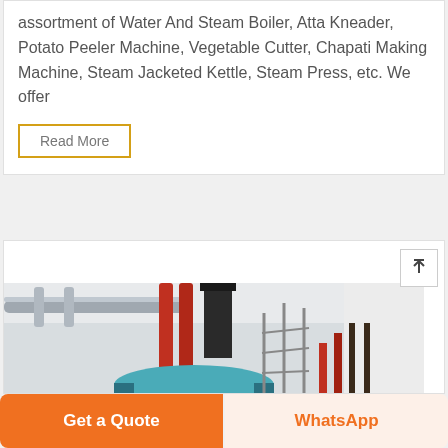assortment of Water And Steam Boiler, Atta Kneader, Potato Peeler Machine, Vegetable Cutter, Chapati Making Machine, Steam Jacketed Kettle, Steam Press, etc. We offer
Read More
[Figure (photo): Industrial boiler room showing a large teal/blue steam boiler with red pipes, metal scaffolding, and chimney stack in a white-walled facility]
Get a Quote
WhatsApp